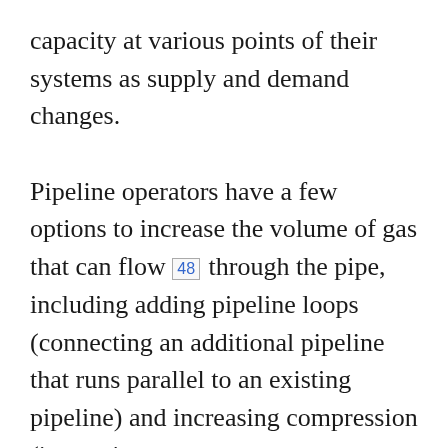capacity at various points of their systems as supply and demand changes.

Pipeline operators have a few options to increase the volume of gas that can flow [48] through the pipe, including adding pipeline loops (connecting an additional pipeline that runs parallel to an existing pipeline) and increasing compression (increasing pressure so more gas can flow through the same amount of space). Conversely, capacity can be decreased at points where not enough natural gas is flowing or where a pipeline has integrity